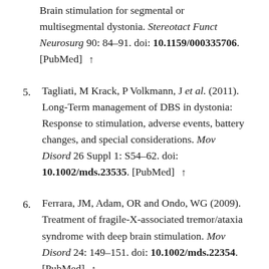Brain stimulation for segmental or multisegmental dystonia. Stereotact Funct Neurosurg 90: 84–91. doi: 10.1159/000335706. [PubMed] ↑
5. Tagliati, M Krack, P Volkmann, J et al. (2011). Long-Term management of DBS in dystonia: Response to stimulation, adverse events, battery changes, and special considerations. Mov Disord 26 Suppl 1: S54–62. doi: 10.1002/mds.23535. [PubMed] ↑
6. Ferrara, JM, Adam, OR and Ondo, WG (2009). Treatment of fragile-X-associated tremor/ataxia syndrome with deep brain stimulation. Mov Disord 24: 149–151. doi: 10.1002/mds.22354. [PubMed] ↑